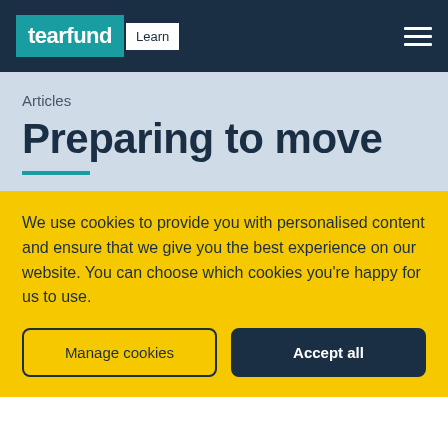[Figure (logo): Tearfund Learn logo — teal background with white 'tearfund' text and white box with 'Learn' text]
tearfund Learn
Articles
Preparing to move
We use cookies to provide you with personalised content and ensure that we give you the best experience on our website. You can choose which cookies you're happy for us to use.
Manage cookies
Accept all